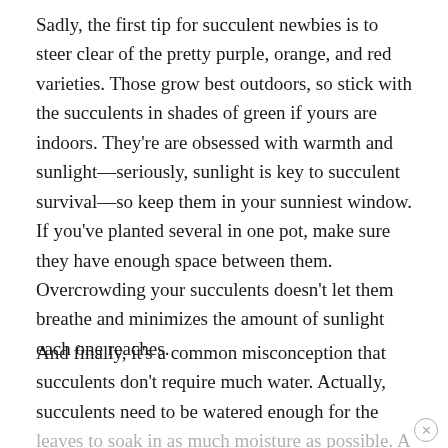Sadly, the first tip for succulent newbies is to steer clear of the pretty purple, orange, and red varieties. Those grow best outdoors, so stick with the succulents in shades of green if yours are indoors. They're are obsessed with warmth and sunlight—seriously, sunlight is key to succulent survival—so keep them in your sunniest window. If you've planted several in one pot, make sure they have enough space between them. Overcrowding your succulents doesn't let them breathe and minimizes the amount of sunlight each one reaches.
And finally, it's a common misconception that succulents don't require much water. Actually, succulents need to be watered enough for the leaves to soak in as much moisture as possible. A